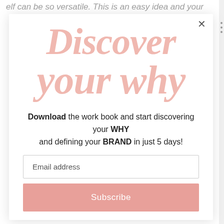elf can be so versatile. This is an easy idea and your
Discover your why
Download the work book and start discovering your WHY and defining your BRAND in just 5 days!
Email address
Subscribe